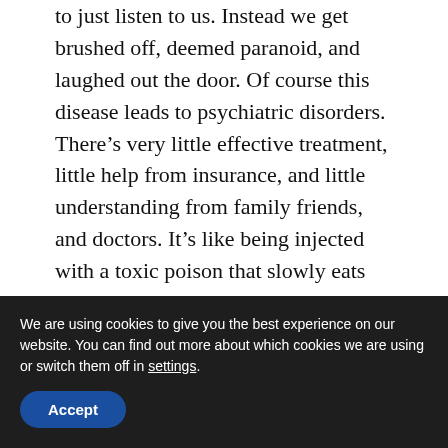to just listen to us. Instead we get brushed off, deemed paranoid, and laughed out the door. Of course this disease leads to psychiatric disorders. There's very little effective treatment, little help from insurance, and little understanding from family friends, and doctors. It's like being injected with a toxic poison that slowly eats away at your brain and body and being told it's all in your head! We can hardly work, eat, and find any
We are using cookies to give you the best experience on our website. You can find out more about which cookies we are using or switch them off in settings.
Accept